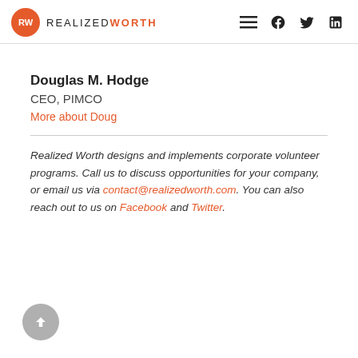[Figure (logo): RealizedWorth logo: orange circle with 'RW' text, followed by REALIZEDWORTH in uppercase letters]
Douglas M. Hodge
CEO, PIMCO
More about Doug
Realized Worth designs and implements corporate volunteer programs. Call us to discuss opportunities for your company, or email us via contact@realizedworth.com. You can also reach out to us on Facebook and Twitter.